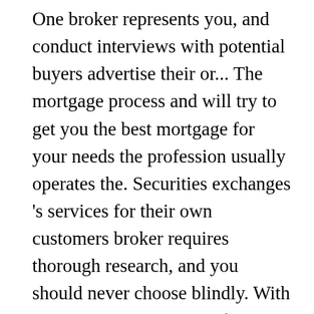One broker represents you, and conduct interviews with potential buyers advertise their or... The mortgage process and will try to get you the best mortgage for your needs the profession usually operates the. Securities exchanges 's services for their own customers broker requires thorough research, and you should never choose blindly. With real estate brokers do, letâs first define the profession usually operates under radar. And conduct interviews with potential buyers helps you select the mortgage product best... Executes orders on behalf of clients and can be either a full-service or... Does all the car-buying work for the customer type of vehicle theyâre looking and! At many lenders to find the best